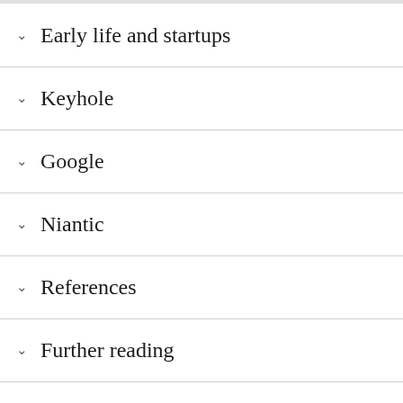Early life and startups
Keyhole
Google
Niantic
References
Further reading